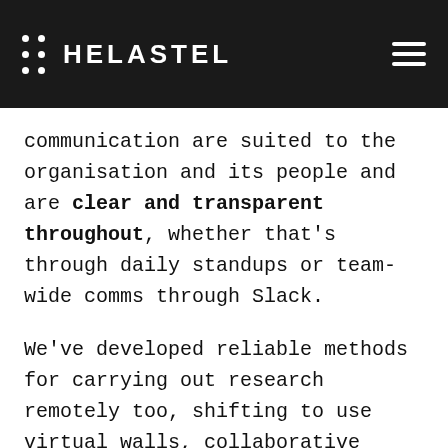HELASTEL
communication are suited to the organisation and its people and are clear and transparent throughout, whether that's through daily standups or team-wide comms through Slack.
We've developed reliable methods for carrying out research remotely too, shifting to use virtual walls, collaborative digital tools, and a variety of remote research methods. This ensures our Agile Discovery streams – both technical and user-focused – are aligned